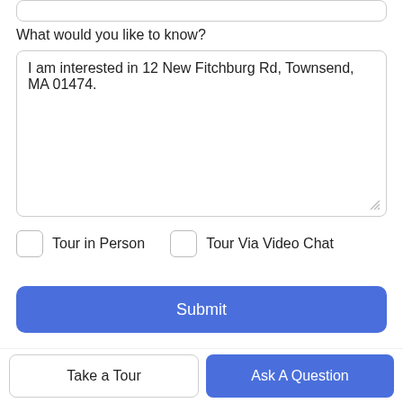What would you like to know?
I am interested in 12 New Fitchburg Rd, Townsend, MA 01474.
Tour in Person
Tour Via Video Chat
Submit
Disclaimer: By entering your information and submitting this form, you agree to our Terms of Use and Privacy Policy and that you may be contacted by phone, text message and email about your inquiry.
Take a Tour
Ask A Question